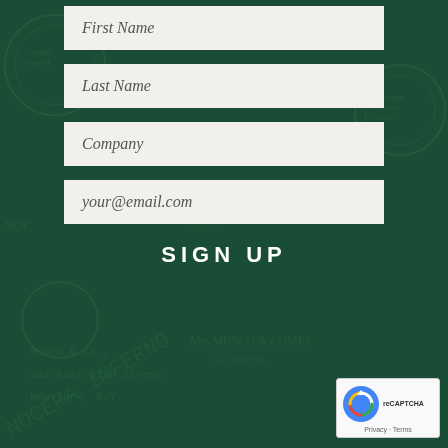First Name
Last Name
Company
your@email.com
SIGN UP
[Figure (logo): reCAPTCHA badge with recycle-arrow logo, Privacy and Terms links]